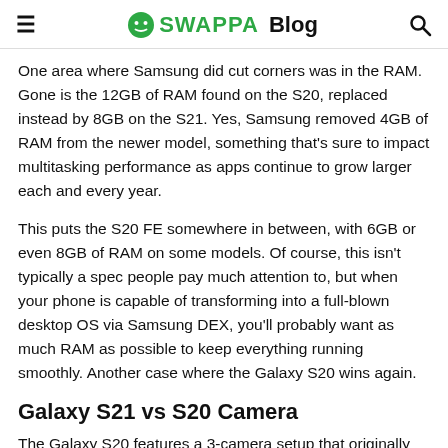SWAPPA Blog
One area where Samsung did cut corners was in the RAM. Gone is the 12GB of RAM found on the S20, replaced instead by 8GB on the S21. Yes, Samsung removed 4GB of RAM from the newer model, something that’s sure to impact multitasking performance as apps continue to grow larger each and every year.
This puts the S20 FE somewhere in between, with 6GB or even 8GB of RAM on some models. Of course, this isn’t typically a spec people pay much attention to, but when your phone is capable of transforming into a full-blown desktop OS via Samsung DEX, you’ll probably want as much RAM as possible to keep everything running smoothly. Another case where the Galaxy S20 wins again.
Galaxy S21 vs S20 Camera
The Galaxy S20 features a 3-camera setup that originally